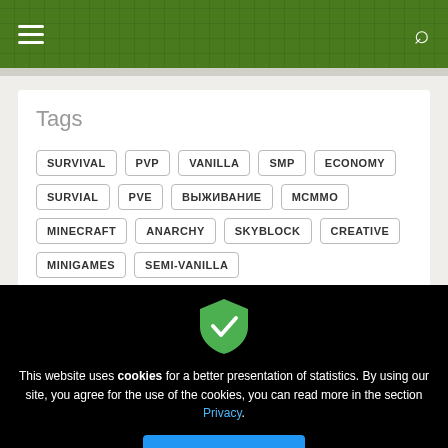Navigation menu and search icon
Tags
SURVIVAL
PVP
VANILLA
SMP
ECONOMY
SURVIAL
PVE
ВЫЖИВАНИЕ
MCMMO
MINECRAFT
ANARCHY
SKYBLOCK
CREATIVE
MINIGAMES
SEMI-VANILLA
[Figure (illustration): Green shield with white checkmark icon]
This website uses cookies for a better presentation of statistics. By using our site, you agree for the use of the cookies, you can read more in the section Privacy.